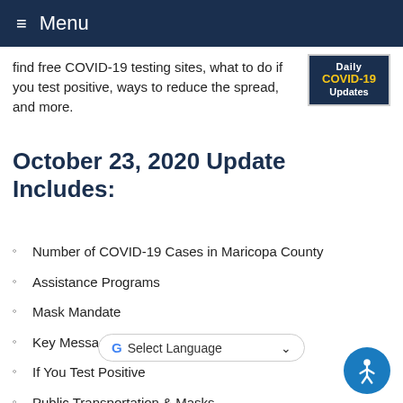Menu
find free COVID-19 testing sites, what to do if you test positive, ways to reduce the spread, and more.
[Figure (other): Daily COVID-19 Updates badge/image with dark blue background and yellow COVID-19 text]
October 23, 2020 Update Includes:
Number of COVID-19 Cases in Maricopa County
Assistance Programs
Mask Mandate
Key Message: Find a Testing Site
If You Test Positive
Public Transportation & Masks
How You Can Help Reduce the Spread of COVID-19
County ...